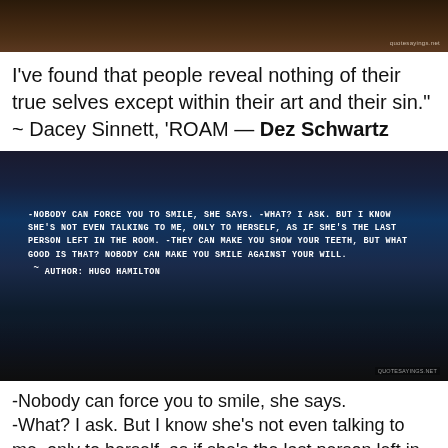[Figure (photo): Dark reddish-brown background image, likely foliage or nature scene, with watermark 'quotesayings.net' in bottom right]
I've found that people reveal nothing of their true selves except within their art and their sin." ~ Dacey Sinnett, 'ROAM — Dez Schwartz
[Figure (photo): Dark cityscape/rooftop night scene with white bold text overlay reading: -NOBODY CAN FORCE YOU TO SMILE, SHE SAYS. -WHAT? I ASK. BUT I KNOW SHE'S NOT EVEN TALKING TO ME, ONLY TO HERSELF, AS IF SHE'S THE LAST PERSON LEFT IN THE ROOM. -THEY CAN MAKE YOU SHOW YOUR TEETH, BUT WHAT GOOD IS THAT? NOBODY CAN MAKE YOU SMILE AGAINST YOUR WILL. ~ AUTHOR: HUGO HAMILTON. Watermark in bottom right.]
-Nobody can force you to smile, she says.
-What? I ask. But I know she's not even talking to me, only to herself, as if she's the last person left in the